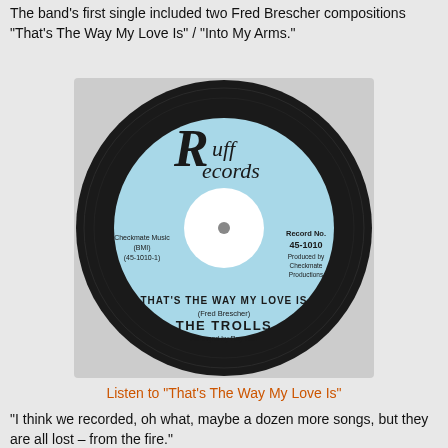The band's first single included two Fred Brescher compositions "That's The Way My Love Is" / "Into My Arms."
[Figure (photo): Photo of a Ruff Records 45 rpm vinyl record label. Light blue label with black text. Shows 'Ruff Records' in stylized lettering at top, 'THAT'S THE WAY MY LOVE IS', '(Fred Brescher)', 'THE TROLLS', 'Arranged by Ray Ruff', 'Record No. 45-1010', 'Produced by Checkmate Productions', 'Checkmate Music (BMI) (45-1010-1)'.]
Listen to "That's The Way My Love Is"
"I think we recorded, oh what, maybe a dozen more songs, but they are all lost – from the fire."